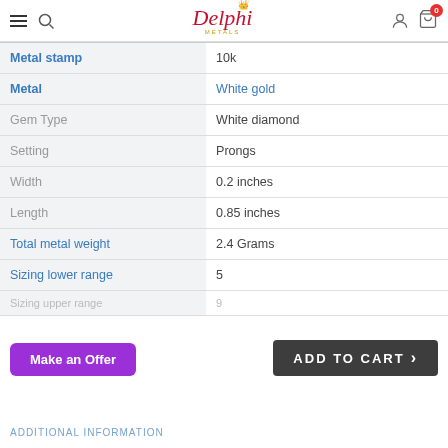Delphi Metals — navigation header with hamburger menu, search, logo, user icon, cart (0)
| Attribute | Value |
| --- | --- |
| Metal stamp | 10k |
| Metal | White gold |
| Gem Type | White diamond |
| Setting | Prongs |
| Width | 0.2 inches |
| Length | 0.85 inches |
| Total metal weight | 2.4 Grams |
| Sizing lower range | 5 |
| Sizing upper range | 9 |
ADD TO CART
Make an Offer
ADDITIONAL INFORMATION